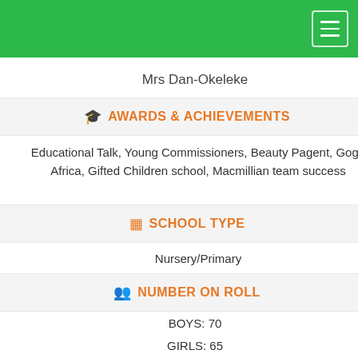Mrs Dan-Okeleke
AWARDS & ACHIEVEMENTS
Educational Talk, Young Commissioners, Beauty Pagent, Goge Africa, Gifted Children school, Macmillian team success
SCHOOL TYPE
Nursery/Primary
NUMBER ON ROLL
BOYS: 70
GIRLS: 65